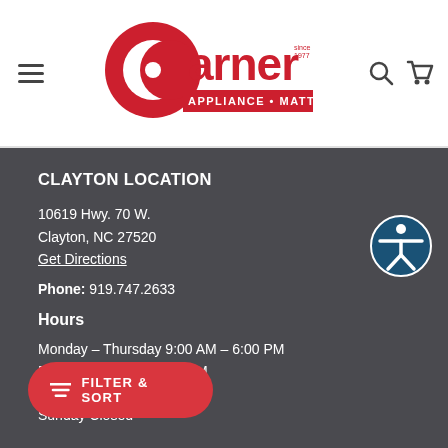[Figure (logo): Garner Appliance & Mattress logo in red with hamburger menu icon on left and search/cart icons on right]
CLAYTON LOCATION
10619 Hwy. 70 W.
Clayton, NC 27520
Get Directions
Phone: 919.747.2633
Hours
Monday – Thursday 9:00 AM – 6:00 PM
Friday 10:30 AM – 6:00 PM
- 5:00 PM
Sunday Closed